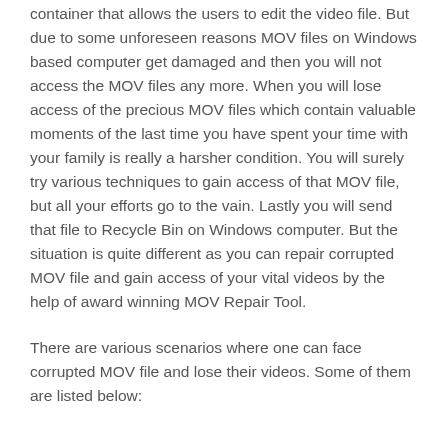container that allows the users to edit the video file. But due to some unforeseen reasons MOV files on Windows based computer get damaged and then you will not access the MOV files any more. When you will lose access of the precious MOV files which contain valuable moments of the last time you have spent your time with your family is really a harsher condition. You will surely try various techniques to gain access of that MOV file, but all your efforts go to the vain. Lastly you will send that file to Recycle Bin on Windows computer. But the situation is quite different as you can repair corrupted MOV file and gain access of your vital videos by the help of award winning MOV Repair Tool.
There are various scenarios where one can face corrupted MOV file and lose their videos. Some of them are listed below: